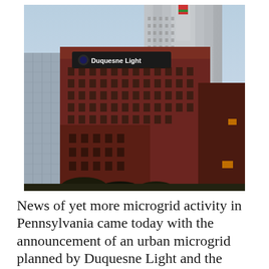[Figure (photo): Photograph of the Duquesne Light building in Pittsburgh, Pennsylvania. A large multi-story red brick building with a 'Duquesne Light' sign near the top. Behind it rises a tall art-deco skyscraper with a lit colored top. Evening or dusk lighting with warm orange lights visible on the building facade.]
News of yet more microgrid activity in Pennsylvania came today with the announcement of an urban microgrid planned by Duquesne Light and the